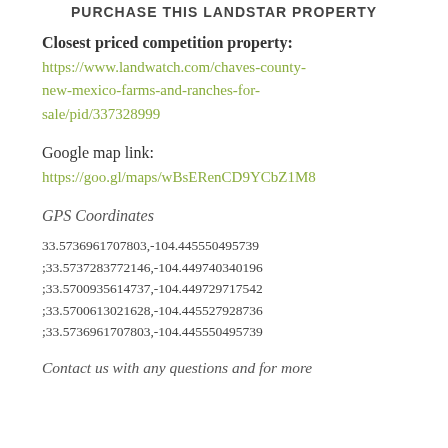PURCHASE THIS LANDSTAR PROPERTY
Closest priced competition property:
https://www.landwatch.com/chaves-county-new-mexico-farms-and-ranches-for-sale/pid/337328999
Google map link:
https://goo.gl/maps/wBsERenCD9YCbZ1M8
GPS Coordinates
33.5736961707803,-104.445550495739;33.5737283772146,-104.449740340196;33.5700935614737,-104.449729717542;33.5700613021628,-104.445527928736;33.5736961707803,-104.445550495739
Contact us with any questions and for more